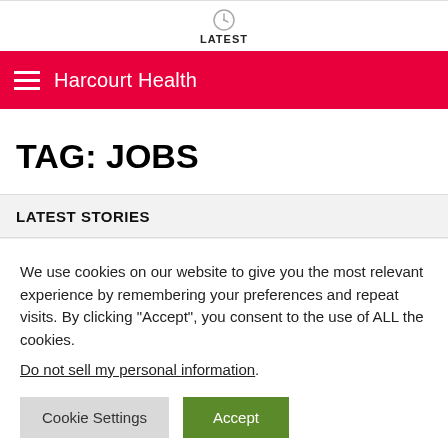LATEST
Harcourt Health
TAG: JOBS
LATEST STORIES
We use cookies on our website to give you the most relevant experience by remembering your preferences and repeat visits. By clicking “Accept”, you consent to the use of ALL the cookies.
Do not sell my personal information.
Cookie Settings  Accept